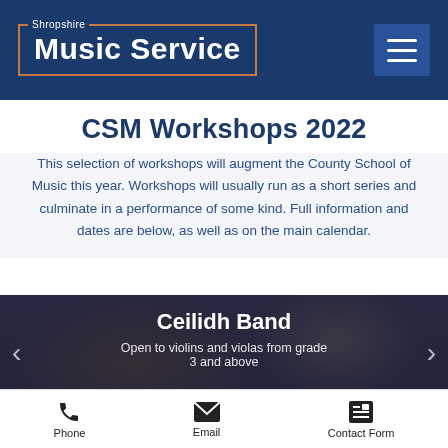Shropshire Music Service
CSM Workshops 2022
This selection of workshops will augment the County School of Music this year. Workshops will usually run as a short series and culminate in a performance of some kind. Full information and dates are below, as well as on the main calendar.
[Figure (photo): A photo banner showing musicians, overlaid with text about the Ceilidh Band workshop. Text reads: 'Ceilidh Band', 'Open to violins and violas from grade 3 and above', 'Various dates from 22nd']
Phone  Email  Contact Form